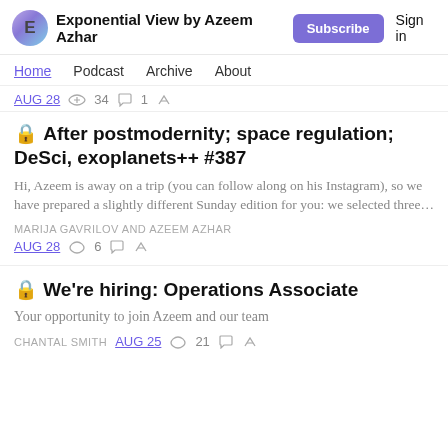Exponential View by Azeem Azhar | Subscribe | Sign in
Home  Podcast  Archive  About
AUG 28  ♡ 34  💬 1  ↗
🔒 After postmodernity; space regulation; DeSci, exoplanets++ #387
Hi, Azeem is away on a trip (you can follow along on his Instagram), so we have prepared a slightly different Sunday edition for you: we selected three…
MARIJA GAVRILOV AND AZEEM AZHAR
AUG 28  ♡ 6  💬  ↗
🔒 We're hiring: Operations Associate
Your opportunity to join Azeem and our team
CHANTAL SMITH  AUG 25  ♡ 21  💬  ↗